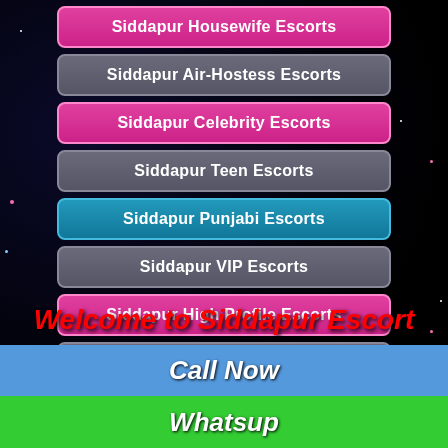Siddapur Housewife Escorts
Siddapur Air-Hostess Escorts
Siddapur Celebrity Escorts
Siddapur Teen Escorts
Siddapur Punjabi Escorts
Siddapur VIP Escorts
Siddapur High Profile Escorts
Siddapur South Indian Escorts
Siddapur Kashmir Escorts
Siddapur Collage Girls Escorts
Welcome to Siddapur Escort
Call Now
Whatsup